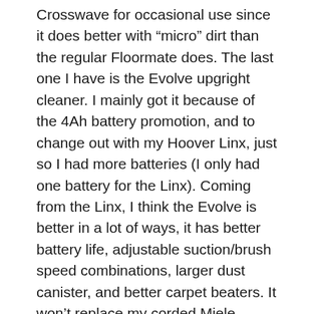Crosswave for occasional use since it does better with “micro” dirt than the regular Floormate does. The last one I have is the Evolve upgright cleaner. I mainly got it because of the 4Ah battery promotion, and to change out with my Hoover Linx, just so I had more batteries (I only had one battery for the Linx). Coming from the Linx, I think the Evolve is better in a lot of ways, it has better battery life, adjustable suction/brush speed combinations, larger dust canister, and better carpet beaters. It won’t replace my corded Miele Homecare C3, but it works great for my use by the cat litter box, for vacuuming up litter pieces from the laminate near the box and the carpet as they exit the room with the box. I’d probably replace my Dyson v8 with it if I didn’t have it dedicated mostly for the cat box, but it is missing the attachment capability of the v8. So I’d probably keep the v8 for using the brushes and such